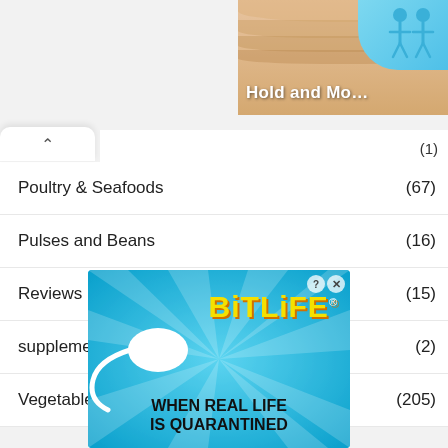[Figure (screenshot): Top right ad banner with peach/blue background and 'Hold and Mo...' text with blue stick figures]
(1)
Poultry & Seafoods (67)
Pulses and Beans (16)
Reviews (15)
supplement (2)
Vegetables (205)
[Figure (screenshot): BitLife advertisement with blue background, sperm icon, yellow logo text, and tagline 'WHEN REAL LIFE IS QUARANTINED']